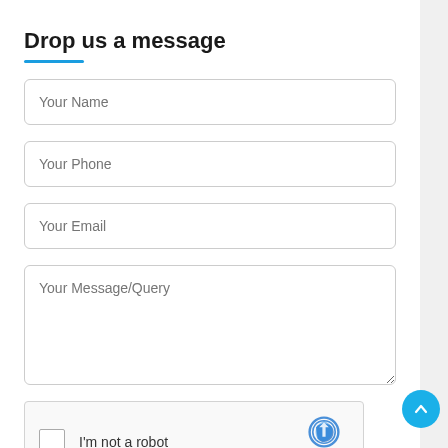Drop us a message
[Figure (screenshot): Contact form with fields: Your Name, Your Phone, Your Email, Your Message/Query, and a reCAPTCHA widget. A blue scroll-to-top button is visible in the bottom right corner.]